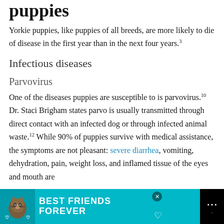puppies
Yorkie puppies, like puppies of all breeds, are more likely to die of disease in the first year than in the next four years.³
Infectious diseases
Parvovirus
One of the diseases puppies are susceptible to is parvovirus.¹⁰ Dr. Staci Brigham states parvo is usually transmitted through direct contact with an infected dog or through infected animal waste.¹² While 90% of puppies survive with medical assistance, the symptoms are not pleasant: severe diarrhea, vomiting, dehydration, pain, weight loss, and inflamed tissue of the eyes and mouth are just
[Figure (other): Advertisement banner at page bottom: teal background showing a cat illustration, text 'BEST FRIENDS FOREVER' in bold white letters with heart icons]